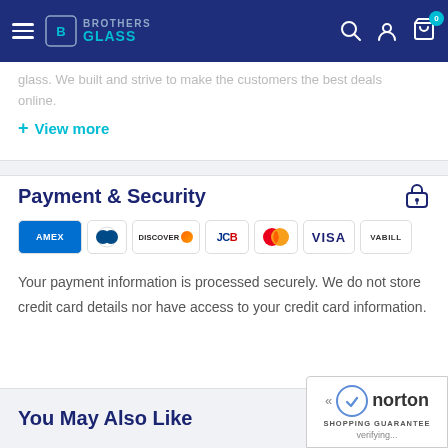Brothers Glass - Navigation Header
glass. We built and strive to make the customers the best deals online.
+ View more
Payment & Security
[Figure (logo): Payment method logos: AMEX, Diners Club, Discover, JCB, Mastercard, Visa, VaBill]
Your payment information is processed securely. We do not store credit card details nor have access to your credit card information.
You May Also Like
[Figure (logo): Norton Shopping Guarantee badge with checkmark, verifying...]